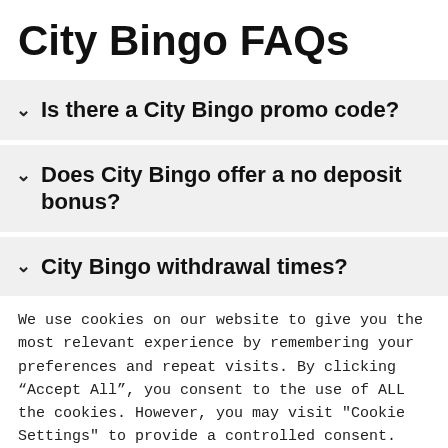City Bingo FAQs
Is there a City Bingo promo code?
Does City Bingo offer a no deposit bonus?
City Bingo withdrawal times?
We use cookies on our website to give you the most relevant experience by remembering your preferences and repeat visits. By clicking "Accept All", you consent to the use of ALL the cookies. However, you may visit "Cookie Settings" to provide a controlled consent.
Cookie Settings | Accept All